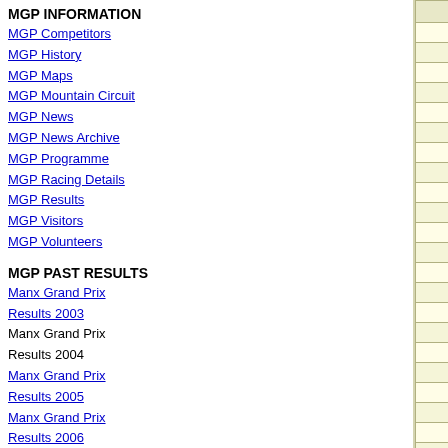MGP INFORMATION
MGP Competitors
MGP History
MGP Maps
MGP Mountain Circuit
MGP News
MGP News Archive
MGP Programme
MGP Racing Details
MGP Results
MGP Visitors
MGP Volunteers
MGP PAST RESULTS
Manx Grand Prix Results 2003
Manx Grand Prix Results 2004
Manx Grand Prix Results 2005
Manx Grand Prix Results 2006
MOTORCYCLE RACING EVENTS
Manx Grand Prix
| Pl | No | Name | Machine |
| --- | --- | --- | --- |
| 1 | 4 | Alan Jackson | 750 Kawasaki |
| 2 | 7 | Davy Morgan | 750 Suzuki |
| 3 | 3 | Ian Pattinson | 748 Bullock K |
| 4 | 6 | John Burrows | 750 SUZUKI |
| 5 | 42 | Paul Wilson | 750 Suzuki |
| 6 | 9 | Dean Silvester | 996 CSC Duc |
| 7 | 5 | Liam Quinn | 750 Suzuki |
| 8 | 46 | Peter Symes | 750 Suzuki |
| 9 | 38 | ANDREW JACKSON | 750 Bob Jack |
| 10 | 48 | Johnny Bradshaw | 999 Honda |
| 11 | 87 | Keith McKay | 749 Suzuki |
| 12 | 99 | Philip Harman | 998 Aprilia |
| 13 | 97 | Adrian Elwood | 600 Yamaha |
| 13 | 78 | Brian Appleton | 600 YAMAHA |
| 15 | 53 | Stephen Spencer | 750 Harris Ya |
| 16 | 88 | John Quail | 1000 Honda |
| 17 | 107 | Colin Salter | 600 Yamaha |
| 18 | 118 | Richard Prescott | 600 Suzuki |
| 19 | 104 | Bill Rice | 630 Honda |
| 20 | 110 | Mike Smith | 600 Yamaha |
| 21 | 109 | Paul Nolan | 600 Honda |
| 22 | 116 | John Killeen | 1000 Honda |